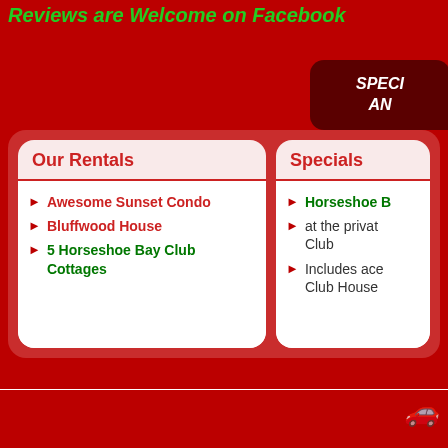Reviews are Welcome on Facebook
SPECI AN
Our Rentals
Awesome Sunset Condo
Bluffwood House
5 Horseshoe Bay Club Cottages
Specials
Horseshoe B
at the private Club
Includes acc Club House